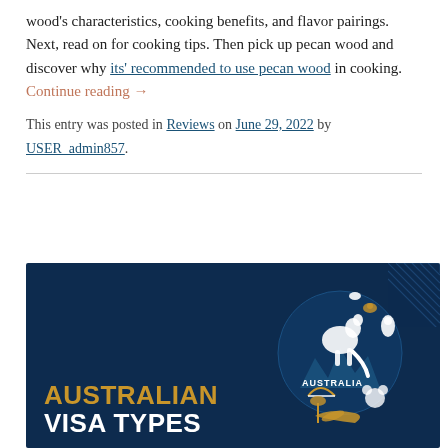wood's characteristics, cooking benefits, and flavor pairings. Next, read on for cooking tips. Then pick up pecan wood and discover why its' recommended to use pecan wood in cooking. Continue reading →
This entry was posted in Reviews on June 29, 2022 by USER_admin857.
[Figure (illustration): Dark navy blue banner image with the text 'AUSTRALIAN VISA TYPES' in large bold text (Australian in gold/amber, VISA TYPES in white). The right side features an illustrated globe shape filled with Australian icons including a kangaroo, koala, Sydney Opera House, Sydney Harbour Bridge, palm trees, penguin, birds, and the word AUSTRALIA. A diagonal line hatch pattern appears in the top-right corner.]